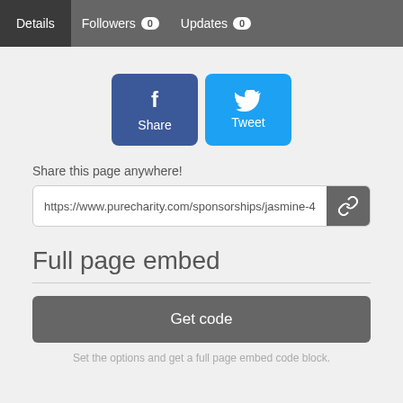Details  Followers 0  Updates 0
[Figure (illustration): Facebook Share button (blue rounded square with f icon and 'Share' label) and Twitter Tweet button (cyan rounded square with bird icon and 'Tweet' label)]
Share this page anywhere!
https://www.purecharity.com/sponsorships/jasmine-4
Full page embed
Get code
Set the options and get a full page embed code block.